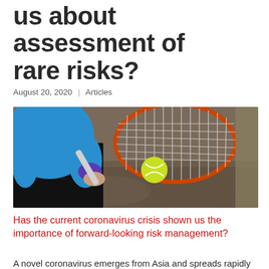us about assessment of rare risks?
August 20, 2020  |  Articles
[Figure (photo): A tennis player in a blue shirt with a purple wristband hitting a tennis ball with a racket, outdoors.]
Has the current coronavirus crisis shown us the importance of forward-looking risk management?
A novel coronavirus emerges from Asia and spreads rapidly around the globe. To a forward for management to...